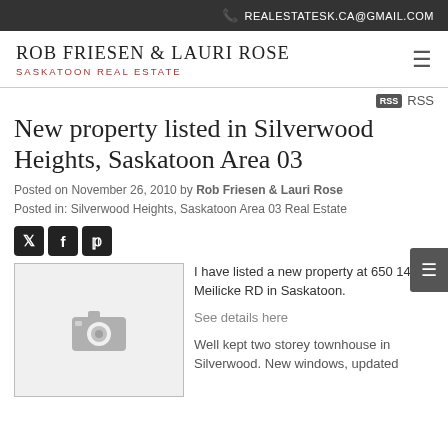REALESTATESK.CA@GMAIL.COM
ROB FRIESEN & LAURI ROSE
SASKATOON REAL ESTATE
RSS
New property listed in Silverwood Heights, Saskatoon Area 03
Posted on November 26, 2010 by Rob Friesen & Lauri Rose
Posted in: Silverwood Heights, Saskatoon Area 03 Real Estate
[Figure (illustration): Camera placeholder image icon (grey camera silhouette on light grey background inside a bordered box)]
I have listed a new property at 650 140 Meilicke RD in Saskatoon.
See details here
Well kept two storey townhouse in Silverwood. New windows, updated